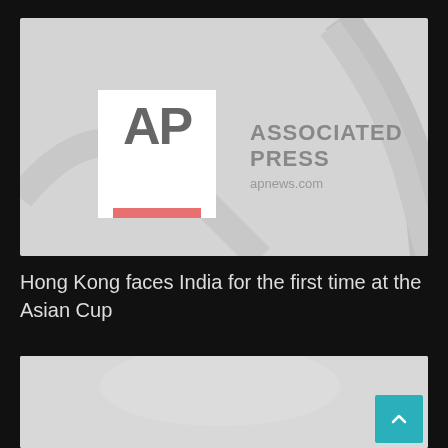[Figure (logo): Associated Press logo — white box with bold gray 'AP' text and a red/salmon bar at bottom, beside 'ASSOCIATED PRESS' and 'apnews.com' on gray background]
Hong Kong faces India for the first time at the Asian Cup
[Figure (photo): Partially visible light gray image placeholder at the bottom of the page with a teal scroll-to-top button in the lower right corner]